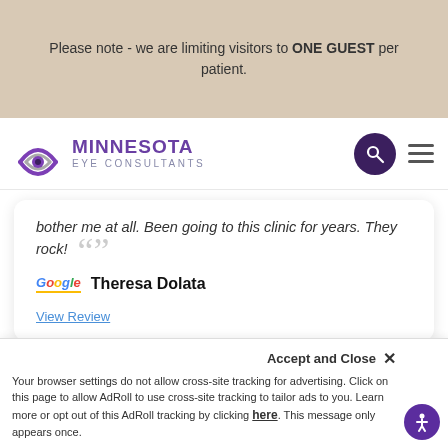Please note - we are limiting visitors to ONE GUEST per patient.
[Figure (logo): Minnesota Eye Consultants logo with purple eye graphic and text]
bother me at all. Been going to this clinic for years. They rock!
Theresa Dolata
View Review
Page 339 of 437
Your browser settings do not allow cross-site tracking for advertising. Click on this page to allow AdRoll to use cross-site tracking to tailor ads to you. Learn more or opt out of this AdRoll tracking by clicking here. This message only appears once.